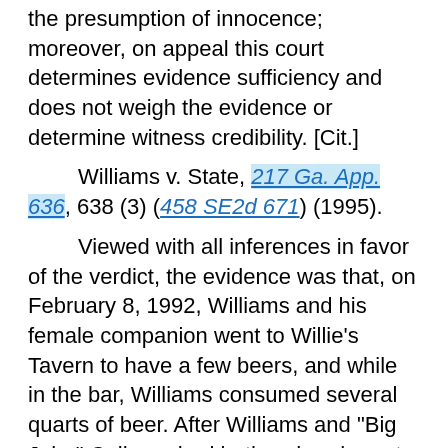the presumption of innocence; moreover, on appeal this court determines evidence sufficiency and does not weigh the evidence or determine witness credibility. [Cit.]
Williams v. State, 217 Ga. App. 636, 638 (3) (458 SE2d 671) (1995).
Viewed with all inferences in favor of the verdict, the evidence was that, on February 8, 1992, Williams and his female companion went to Willie's Tavern to have a few beers, and while in the bar, Williams consumed several quarts of beer. After Williams and "Big John" Calhoun had both ordered quarts of beer, a